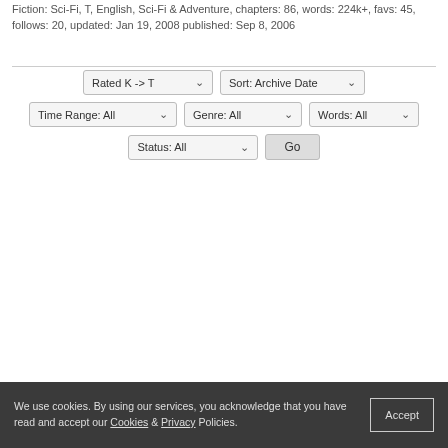Fiction: Sci-Fi, T, English, Sci-Fi & Adventure, chapters: 86, words: 224k+, favs: 45, follows: 20, updated: Jan 19, 2008 published: Sep 8, 2006
[Figure (screenshot): Web UI filter controls: dropdowns for Rated K->T, Sort: Archive Date, Time Range: All, Genre: All, Words: All, Status: All, and a Go button]
We use cookies. By using our services, you acknowledge that you have read and accept our Cookies & Privacy Policies.